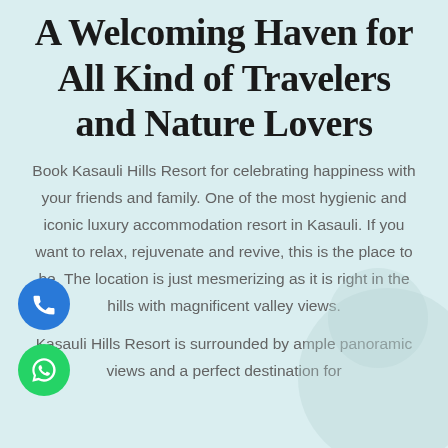A Welcoming Haven for All Kind of Travelers and Nature Lovers
Book Kasauli Hills Resort for celebrating happiness with your friends and family. One of the most hygienic and iconic luxury accommodation resort in Kasauli. If you want to relax, rejuvenate and revive, this is the place to be. The location is just mesmerizing as it is right in the hills with magnificent valley views.
Kasauli Hills Resort is surrounded by ample panoramic views and a perfect destination for